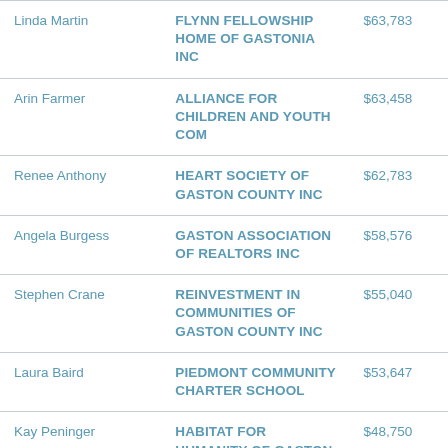| Name | Organization | Amount |
| --- | --- | --- |
| Linda Martin | FLYNN FELLOWSHIP HOME OF GASTONIA INC | $63,783 |
| Arin Farmer | ALLIANCE FOR CHILDREN AND YOUTH COM | $63,458 |
| Renee Anthony | HEART SOCIETY OF GASTON COUNTY INC | $62,783 |
| Angela Burgess | GASTON ASSOCIATION OF REALTORS INC | $58,576 |
| Stephen Crane | REINVESTMENT IN COMMUNITIES OF GASTON COUNTY INC | $55,040 |
| Laura Baird | PIEDMONT COMMUNITY CHARTER SCHOOL | $53,647 |
| Kay Peninger | HABITAT FOR HUMANITY OF GASTON COUNTY INC | $48,750 |
| Dallas Butler | BACKPACK WEEKEND | $46,942 |